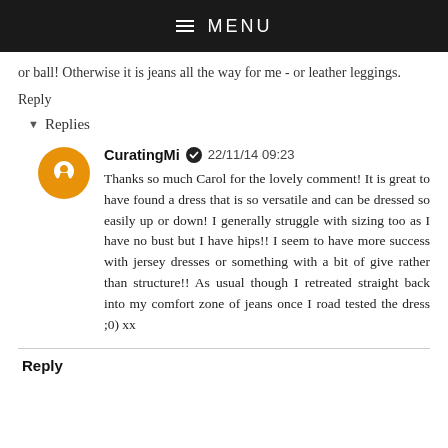≡ MENU
or ball! Otherwise it is jeans all the way for me - or leather leggings.
Reply
▾ Replies
CuratingMi ✔ 22/11/14 09:23
Thanks so much Carol for the lovely comment! It is great to have found a dress that is so versatile and can be dressed so easily up or down! I generally struggle with sizing too as I have no bust but I have hips!! I seem to have more success with jersey dresses or something with a bit of give rather than structure!! As usual though I retreated straight back into my comfort zone of jeans once I road tested the dress ;0) xx
Reply